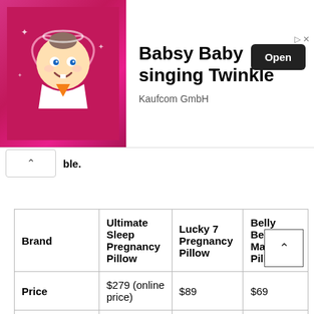[Figure (other): Advertisement banner for Babsy Baby singing Twinkle by Kaufcom GmbH with animated baby character on pink background and Open button]
ble.
| Brand | Ultimate Sleep Pregnancy Pillow | Lucky 7 Pregnancy Pillow | Belly Bean Maternity Pillow |
| --- | --- | --- | --- |
| Price | $279 (online price) | $89 | $69 |
| Value for money | Excellent | Great | Great |